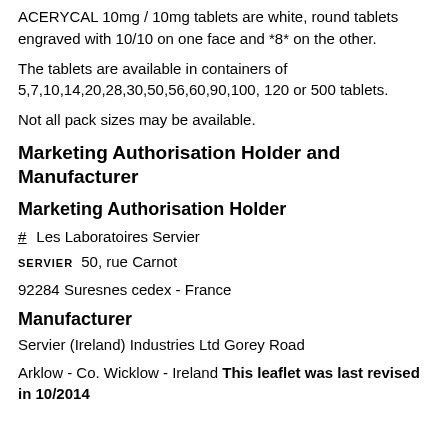ACERYCAL 10mg / 10mg tablets are white, round tablets engraved with 10/10 on one face and *8* on the other.
The tablets are available in containers of 5,7,10,14,20,28,30,50,56,60,90,100, 120 or 500 tablets.
Not all pack sizes may be available.
Marketing Authorisation Holder and Manufacturer
Marketing Authorisation Holder
Les Laboratoires Servier
SERVIER 50, rue Carnot
92284 Suresnes cedex - France
Manufacturer
Servier (Ireland) Industries Ltd Gorey Road
Arklow - Co. Wicklow - Ireland This leaflet was last revised in 10/2014